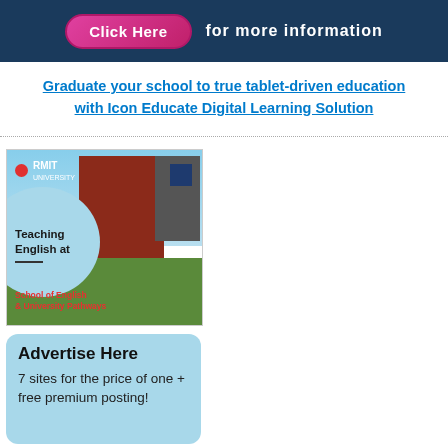[Figure (infographic): Dark blue banner with pink 'Click Here' button and white text reading 'for more information']
Graduate your school to true tablet-driven education with Icon Educate Digital Learning Solution
[Figure (photo): RMIT University advertisement showing a red brick building, sky background, blue circle overlay, with text 'Teaching English at' and 'School of English & University Pathways']
[Figure (infographic): Light blue rounded rectangle ad box with text 'Advertise Here' and '7 sites for the price of one + free premium posting!']